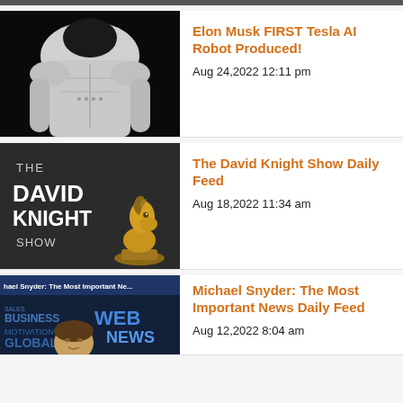[Figure (photo): Tesla AI humanoid robot torso, white and silver, against black background]
Elon Musk FIRST Tesla AI Robot Produced!
Aug 24,2022 12:11 pm
[Figure (photo): The David Knight Show logo with golden chess knight piece on dark background]
The David Knight Show Daily Feed
Aug 18,2022 11:34 am
[Figure (photo): Michael Snyder: The Most Important News banner with news collage background]
Michael Snyder: The Most Important News Daily Feed
Aug 12,2022 8:04 am